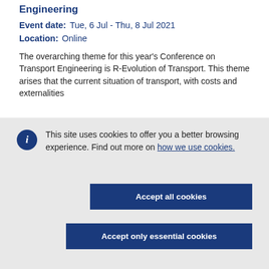Engineering
Event date: Tue, 6 Jul - Thu, 8 Jul 2021
Location: Online
The overarching theme for this year's Conference on Transport Engineering is R-Evolution of Transport. This theme arises that the current situation of transport, with costs and externalities
This site uses cookies to offer you a better browsing experience. Find out more on how we use cookies.
Accept all cookies
Accept only essential cookies